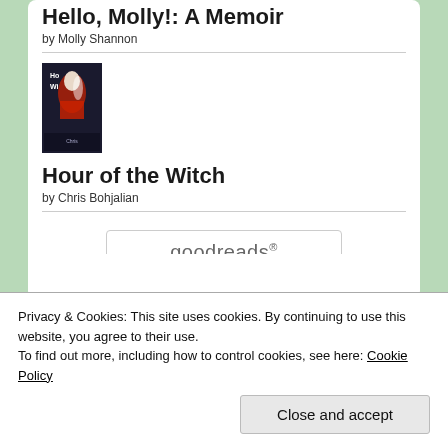Hello, Molly!: A Memoir
by Molly Shannon
[Figure (illustration): Book cover for 'Hour of the Witch' by Chris Bohjalian — dark cover with figure in red and white]
Hour of the Witch
by Chris Bohjalian
[Figure (logo): goodreads logo button — rounded rectangle with 'goodreads' text]
Privacy & Cookies: This site uses cookies. By continuing to use this website, you agree to their use.
To find out more, including how to control cookies, see here: Cookie Policy
Close and accept
Tags